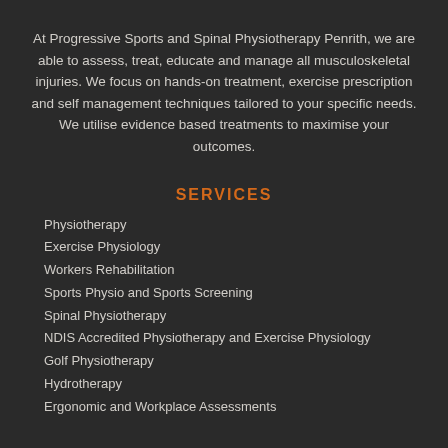At Progressive Sports and Spinal Physiotherapy Penrith, we are able to assess, treat, educate and manage all musculoskeletal injuries. We focus on hands-on treatment, exercise prescription and self management techniques tailored to your specific needs. We utilise evidence based treatments to maximise your outcomes.
SERVICES
Physiotherapy
Exercise Physiology
Workers Rehabilitation
Sports Physio and Sports Screening
Spinal Physiotherapy
NDIS Accredited Physiotherapy and Exercise Physiology
Golf Physiotherapy
Hydrotherapy
Ergonomic and Workplace Assessments